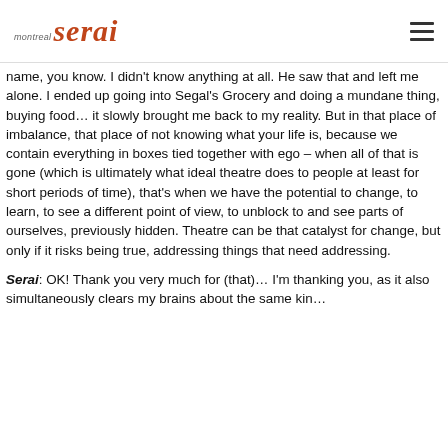montreal serai
name, you know. I didn't know anything at all. He saw that and left me alone. I ended up going into Segal's Grocery and doing a mundane thing, buying food… it slowly brought me back to my reality. But in that place of imbalance, that place of not knowing what your life is, because we contain everything in boxes tied together with ego – when all of that is gone (which is ultimately what ideal theatre does to people at least for short periods of time), that's when we have the potential to change, to learn, to see a different point of view, to unblock to and see parts of ourselves, previously hidden. Theatre can be that catalyst for change, but only if it risks being true, addressing things that need addressing.
Serai: OK! Thank you very much for (that)… I'm thanking you, as it also simultaneously clears my brains about the same kin…